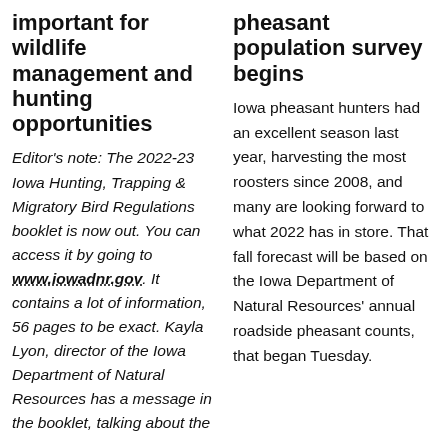important for wildlife management and hunting opportunities
Editor's note: The 2022-23 Iowa Hunting, Trapping & Migratory Bird Regulations booklet is now out. You can access it by going to www.iowadnr.gov. It contains a lot of information, 56 pages to be exact. Kayla Lyon, director of the Iowa Department of Natural Resources has a message in the booklet, talking about the
pheasant population survey begins
Iowa pheasant hunters had an excellent season last year, harvesting the most roosters since 2008, and many are looking forward to what 2022 has in store. That fall forecast will be based on the Iowa Department of Natural Resources' annual roadside pheasant counts, that began Tuesday.